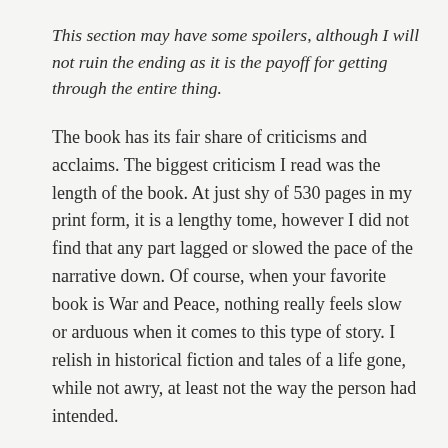This section may have some spoilers, although I will not ruin the ending as it is the payoff for getting through the entire thing.
The book has its fair share of criticisms and acclaims. The biggest criticism I read was the length of the book. At just shy of 530 pages in my print form, it is a lengthy tome, however I did not find that any part lagged or slowed the pace of the narrative down. Of course, when your favorite book is War and Peace, nothing really feels slow or arduous when it comes to this type of story. I relish in historical fiction and tales of a life gone, while not awry, at least not the way the person had intended.
Any book written in the first person will have